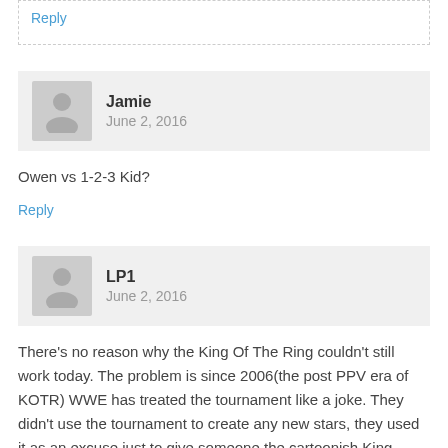Reply
Jamie
June 2, 2016
Owen vs 1-2-3 Kid?
Reply
LP1
June 2, 2016
There's no reason why the King Of The Ring couldn't still work today. The problem is since 2006(the post PPV era of KOTR) WWE has treated the tournament like a joke. They didn't use the tournament to create any new stars, they used it as an excuse just to give someone the cartoonish King gimmick. Booker T(2006), William Regal(2008), Sheamus(2010) and Wade Barrett(2015) were all established stars before winning the KOTR and once they got the King gimmick they turned into jokes. If WWE were to take the concept seriously and